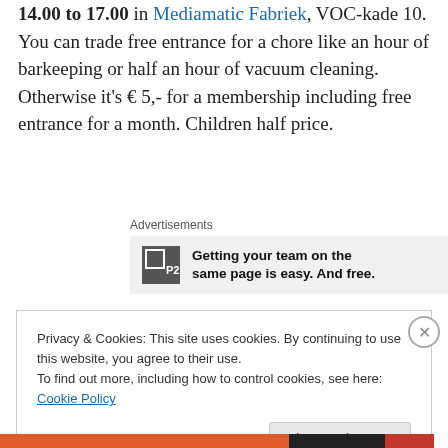14.00 to 17.00 in Mediamatic Fabriek, VOC-kade 10. You can trade free entrance for a chore like an hour of barkeeping or half an hour of vacuum cleaning. Otherwise it's € 5,- for a membership including free entrance for a month. Children half price.
Advertisements
[Figure (other): Advertisement banner for P2 showing logo and text: Getting your team on the same page is easy. And free.]
Privacy & Cookies: This site uses cookies. By continuing to use this website, you agree to their use.
To find out more, including how to control cookies, see here: Cookie Policy
Close and accept